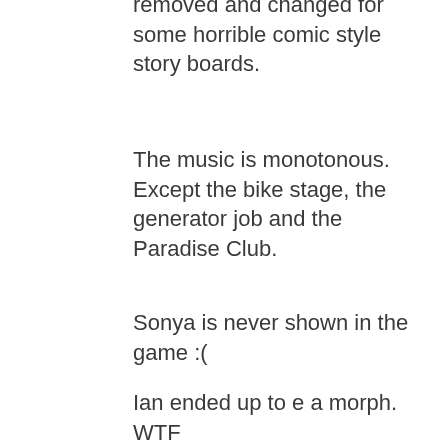removed and changed for some horrible comic style story boards.
The music is monotonous. Except the bike stage, the generator job and the Paradise Club.
Sonya is never shown in the game :(
Ian ended up to e a morph. WTF
IAN chair was removed.
Conrad dint loose his memory because of the